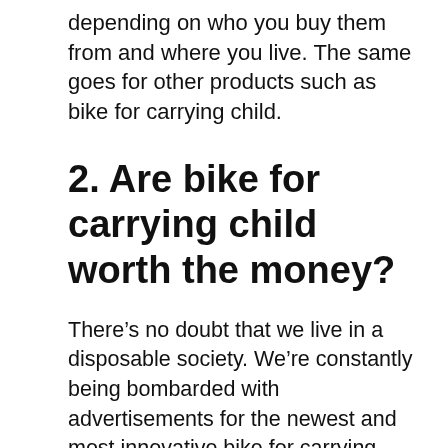depending on who you buy them from and where you live. The same goes for other products such as bike for carrying child.
2. Are bike for carrying child worth the money?
There’s no doubt that we live in a disposable society. We’re constantly being bombarded with advertisements for the newest and most innovative bike for carrying child on the market. But are these bike for carrying child really worth our hard-earned money? Some of them definitely are if you can choose carefully! But others...not so much.
3. When should I buy a new